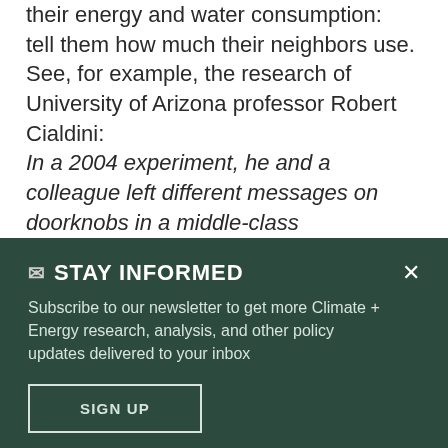their energy and water consumption:  tell them how much their neighbors use.  See, for example, the research of University of Arizona professor Robert Cialdini:
In a 2004 experiment, he and a colleague left different messages on doorknobs in a middle-class neighborhood north of San Diego. One type urged the residents
✉ STAY INFORMED
Subscribe to our newsletter to get more Climate + Energy research, analysis, and other policy updates delivered to your inbox
SIGN UP